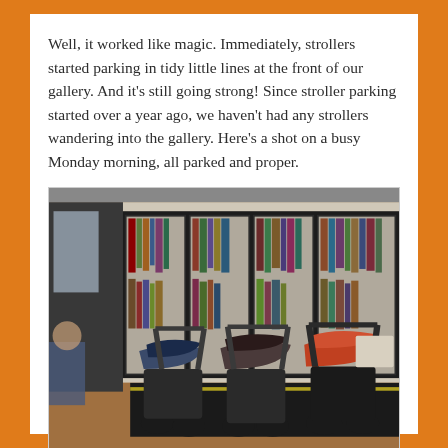Well, it worked like magic. Immediately, strollers started parking in tidy little lines at the front of our gallery. And it's still going strong! Since stroller parking started over a year ago, we haven't had any strollers wandering into the gallery. Here's a shot on a busy Monday morning, all parked and proper.
[Figure (photo): A row of strollers parked neatly in a line in front of glass-fronted bookshelves in a library or gallery setting. The floor is wood-colored with a black mat. Multiple strollers with items draped over them face the shelves filled with books.]